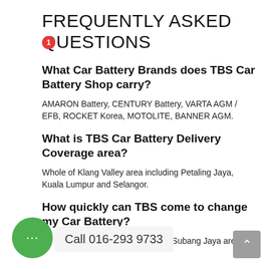FREQUENTLY ASKED QUESTIONS
What Car Battery Brands does TBS Car Battery Shop carry?
AMARON Battery, CENTURY Battery, VARTA AGM / EFB, ROCKET Korea, MOTOLITE, BANNER AGM.
What is TBS Car Battery Delivery Coverage area?
Whole of Klang Valley area including Petaling Jaya, Kuala Lumpur and Selangor.
How quickly can TBS come to change my Car Battery?
for Petaling Jaya, Kuala Lumpur & Subang Jaya areas.